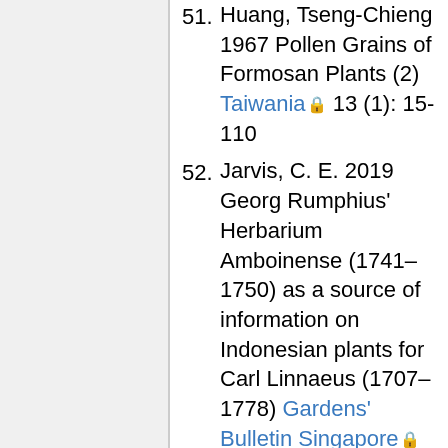51. Huang, Tseng-Chieng 1967 Pollen Grains of Formosan Plants (2) Taiwania 13 (1): 15-110
52. Jarvis, C. E. 2019 Georg Rumphius' Herbarium Amboinense (1741–1750) as a source of information on Indonesian plants for Carl Linnaeus (1707–1778) Gardens' Bulletin Singapore 71 (Suppl. 2):87-107
53. Kaufmann, Eva 2003 Southeast Asian Ant-